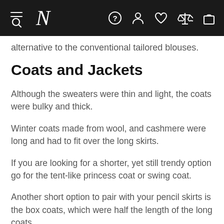N [navigation icons]
alternative to the conventional tailored blouses.
Coats and Jackets
Although the sweaters were thin and light, the coats were bulky and thick.
Winter coats made from wool, and cashmere were long and had to fit over the long skirts.
If you are looking for a shorter, yet still trendy option go for the tent-like princess coat or swing coat.
Another short option to pair with your pencil skirts is the box coats, which were half the length of the long coats.
A jacket with fur collars, mid-level hip, and a big pocket is a less bulky yet stylish alternative to the overcoat.